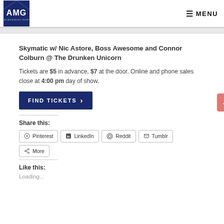AMG | MENU
Skymatic w/ Nic Astore, Boss Awesome and Connor Colburn @ The Drunken Unicorn
Tickets are $5 in advance, $7 at the door. Online and phone sales close at 4:00 pm day of show.
FIND TICKETS >
Share this:
Pinterest | LinkedIn | Reddit | Tumblr | More
Like this:
Loading...